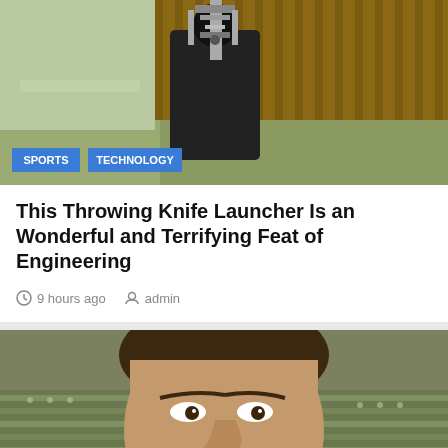[Figure (photo): A black-clad robot or mechanical figure with a metal launcher apparatus on its back, standing in a backyard with a wooden fence and grass. Tags 'SPORTS' and 'TECHNOLOGY' overlaid at bottom left.]
This Throwing Knife Launcher Is an Wonderful and Terrifying Feat of Engineering
9 hours ago   admin
[Figure (photo): Close-up of a man's face with dark hair, speaking, with stadium seating visible in the blurred background. Tags partially visible at bottom. A blue 'back to top' button overlaid at bottom right.]